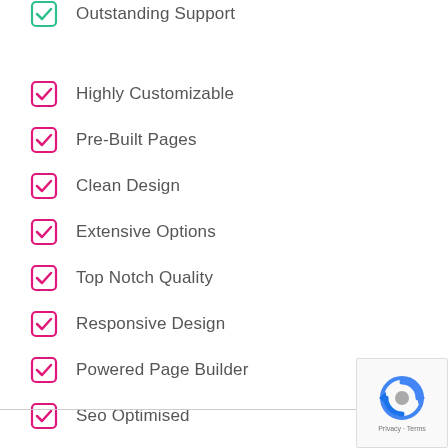Outstanding Support
Highly Customizable
Pre-Built Pages
Clean Design
Extensive Options
Top Notch Quality
Responsive Design
Powered Page Builder
Seo Optimised
Outstanding Support